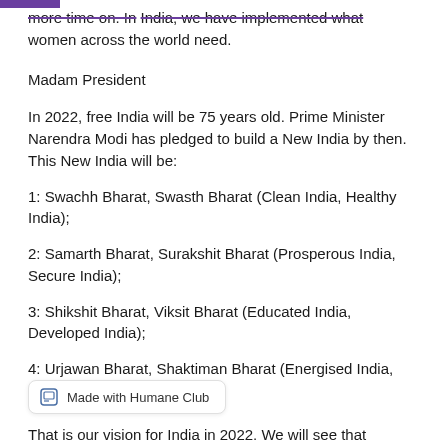more time on. In India, we have implemented what women across the world need.
Madam President
In 2022, free India will be 75 years old. Prime Minister Narendra Modi has pledged to build a New India by then. This New India will be:
1: Swachh Bharat, Swasth Bharat (Clean India, Healthy India);
2: Samarth Bharat, Surakshit Bharat (Prosperous India, Secure India);
3: Shikshit Bharat, Viksit Bharat (Educated India, Developed India);
4: Urjawan Bharat, Shaktiman Bharat (Energised India,
That is our vision for India in 2022. We will see that
Made with Humane Club